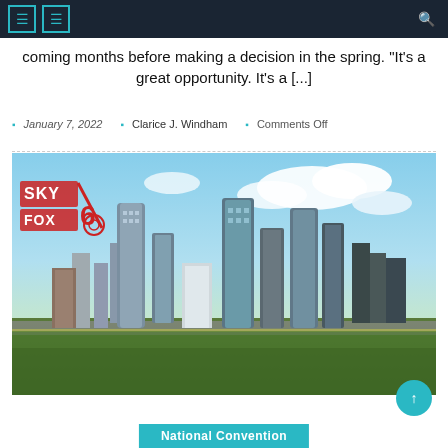Navigation bar with menu icons and search
coming months before making a decision in the spring. “It’s a great opportunity. It’s a [...]
January 7, 2022   Clarice J. Windham   Comments Off
[Figure (photo): Aerial skyline photo of a city (Milwaukee/Atlanta) with skyscrapers, highways, green trees and blue sky with clouds. SKY FOX 6 logo in upper left corner of image.]
National Convention